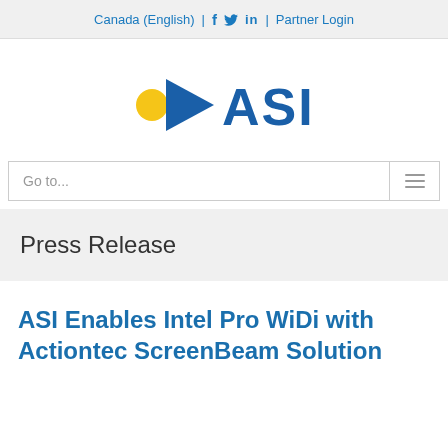Canada (English) | f  in | Partner Login
[Figure (logo): ASI logo with yellow circle dot, blue arrow/chevron pointing right, and bold blue text 'ASI']
Go to...
Press Release
ASI Enables Intel Pro WiDi with Actiontec ScreenBeam Solution